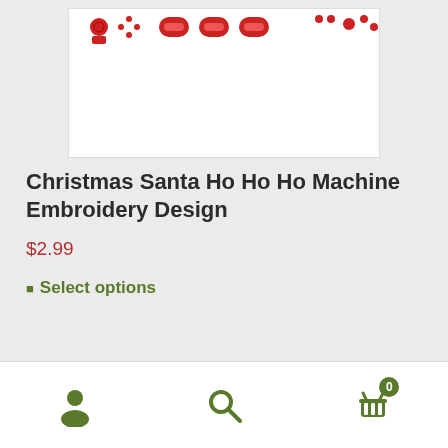[Figure (illustration): Embroidery design preview showing Christmas Santa Ho Ho Ho pattern with red text/characters on white background]
Christmas Santa Ho Ho Ho Machine Embroidery Design
$2.99
Select options
[Figure (infographic): Bottom navigation bar with user/account icon, search icon, and cart icon with badge showing 0]